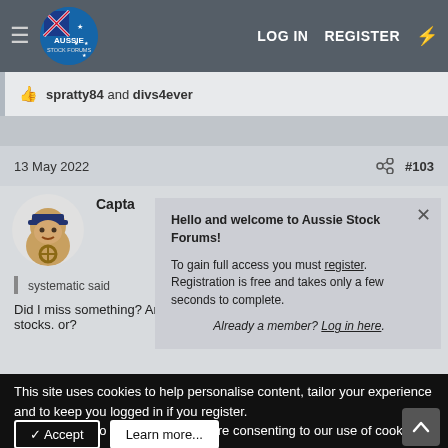LOG IN  REGISTER
spratty84 and divs4ever
13 May 2022  #103
Capta[in]
systematic said
Did I miss something? Are we talking crypto. or stocks. or?
Hello and welcome to Aussie Stock Forums!

To gain full access you must register. Registration is free and takes only a few seconds to complete.

Already a member? Log in here.
This site uses cookies to help personalise content, tailor your experience and to keep you logged in if you register.
By continuing to use this site, you are consenting to our use of cookies.